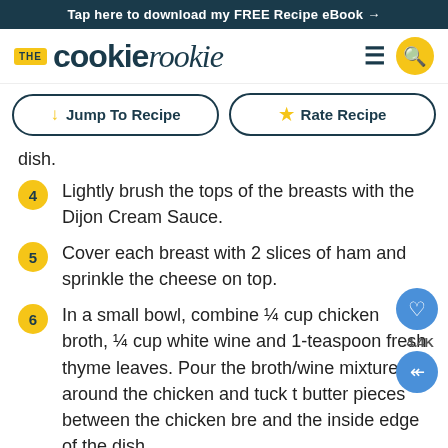Tap here to download my FREE Recipe eBook →
[Figure (logo): The Cookie Rookie logo with hamburger menu and search icon]
Jump To Recipe | Rate Recipe (navigation buttons)
dish.
4 Lightly brush the tops of the breasts with the Dijon Cream Sauce.
5 Cover each breast with 2 slices of ham and sprinkle the cheese on top.
6 In a small bowl, combine ¼ cup chicken broth, ¼ cup white wine and 1-teaspoon fresh thyme leaves. Pour the broth/wine mixture around the chicken and tuck the butter pieces between the chicken breasts and the inside edge of the dish.